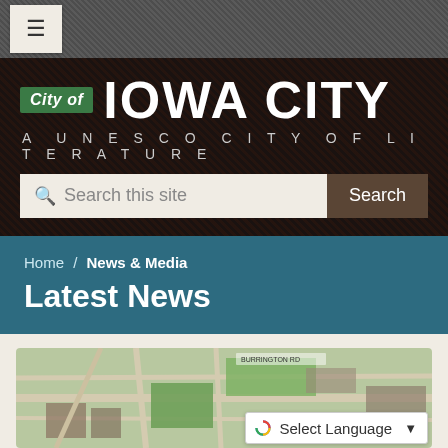[Figure (screenshot): Hamburger menu button (three horizontal lines) on a dark gray textured navigation bar]
[Figure (logo): City of Iowa City logo with green 'City of' badge, large white 'IOWA CITY' text, and 'A UNESCO CITY OF LITERATURE' tagline on dark background, with search bar below]
Home / News & Media
Latest News
[Figure (map): Aerial satellite map view of Iowa City area showing streets and green spaces]
Select Language